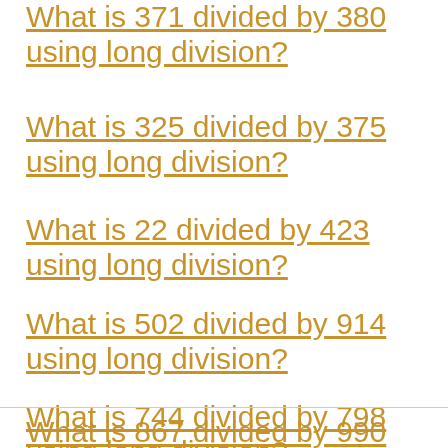What is 371 divided by 380 using long division?
What is 325 divided by 375 using long division?
What is 22 divided by 423 using long division?
What is 502 divided by 914 using long division?
What is 744 divided by 798 using long division?
What is 867 divided by 990 using long division?